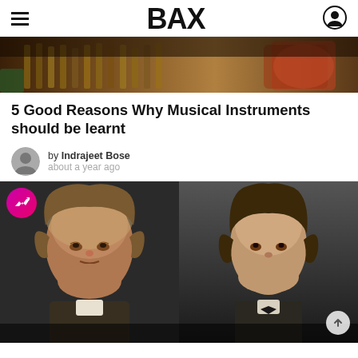BAX
[Figure (photo): Close-up photo of hands playing tabla drums]
5 Good Reasons Why Musical Instruments should be learnt
by Indrajeet Bose
about a year ago
[Figure (photo): Two side-by-side portrait photos of classical composers (resembling Beethoven on left and Chopin on right), with a trending badge overlay on the top-left and a scroll-to-top button on the bottom-right]